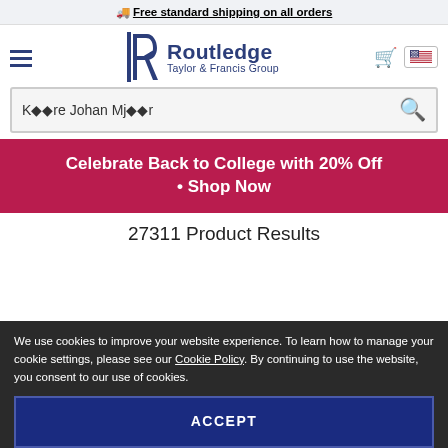🚚 Free standard shipping on all orders
[Figure (logo): Routledge Taylor & Francis Group logo with stylized R]
K��re Johan Mj��r
Celebrate Back to College with 20% Off • Shop Now
27311 Product Results
We use cookies to improve your website experience. To learn how to manage your cookie settings, please see our Cookie Policy. By continuing to use the website, you consent to our use of cookies.
ACCEPT